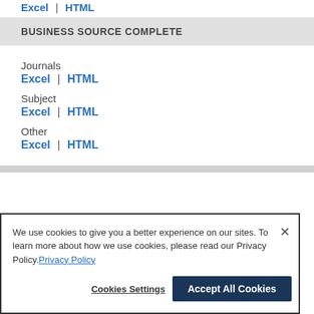Excel | HTML
BUSINESS SOURCE COMPLETE
Journals
Excel | HTML
Subject
Excel | HTML
Other
Excel | HTML
We use cookies to give you a better experience on our sites. To learn more about how we use cookies, please read our Privacy Policy. Privacy Policy